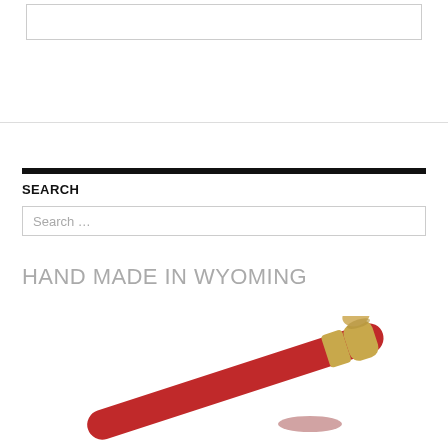[Figure (screenshot): Empty white input box with a light border at the top of the page]
SEARCH
Search ...
HAND MADE IN WYOMING
[Figure (photo): A red and gold handmade pen or writing instrument with a carved golden eagle or bird figure on top, shown diagonally against a white background]